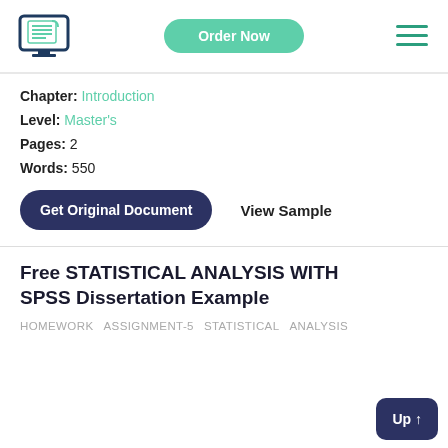[Figure (logo): Document writing service logo — monitor with a scroll/document icon]
Order Now
[Figure (other): Hamburger menu icon — three green horizontal lines]
Chapter: Introduction
Level: Master's
Pages: 2
Words: 550
Get Original Document
View Sample
Free STATISTICAL ANALYSIS WITH SPSS Dissertation Example
HOMEWORK   ASSIGNMENT-5   STATISTICAL   ANALYSIS
Up ↑